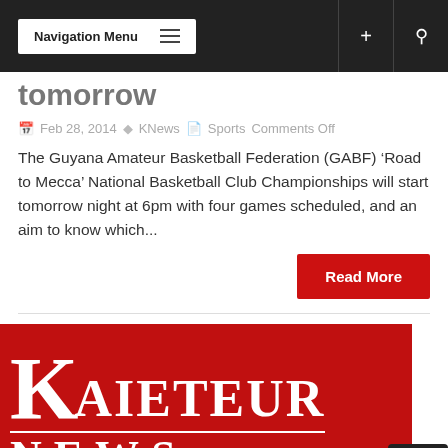Navigation Menu
tomorrow
Feb 28, 2014  KNews  Sports Comments Off
The Guyana Amateur Basketball Federation (GABF) ‘Road to Mecca’ National Basketball Club Championships will start tomorrow night at 6pm with four games scheduled, and an aim to know which...
Read More
[Figure (logo): Kaieteur News logo: large white K followed by AIETEUR on top line, NEWS on bottom line, on a red background]